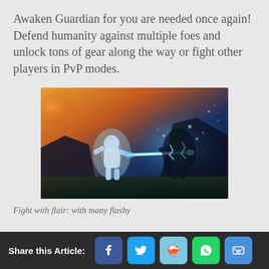Awaken Guardian for you are needed once again! Defend humanity against multiple foes and unlock tons of gear along the way or fight other players in PvP modes.
[Figure (screenshot): Video game screenshot showing two armored characters fighting with glowing blue energy effects against a dramatic sky background]
Fight with flair: with many flashy
Share this Article: [Facebook] [Twitter] [Reddit] [WhatsApp] [Email]